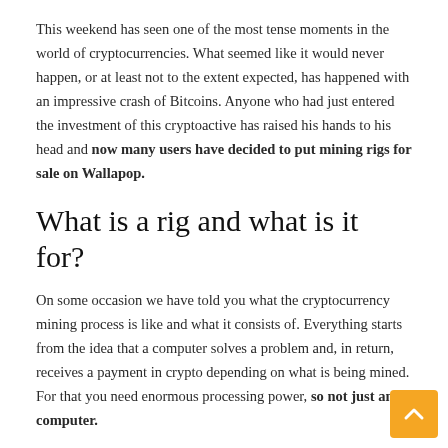This weekend has seen one of the most tense moments in the world of cryptocurrencies. What seemed like it would never happen, or at least not to the extent expected, has happened with an impressive crash of Bitcoins. Anyone who had just entered the investment of this cryptoactive has raised his hands to his head and now many users have decided to put mining rigs for sale on Wallapop.
What is a rig and what is it for?
On some occasion we have told you what the cryptocurrency mining process is like and what it consists of. Everything starts from the idea that a computer solves a problem and, in return, receives a payment in crypto depending on what is being mined. For that you need enormous processing power, so not just any computer.
This is where the 'word' that gives this article its title comes into play: mining rigs. It is a structure that is made up of a motherboard that has the mining orders of which cryptocurrency to obtain. Several graphics cards are attached to it, which are the ones that put the 'brute force' to mine much faster thanks to its processing